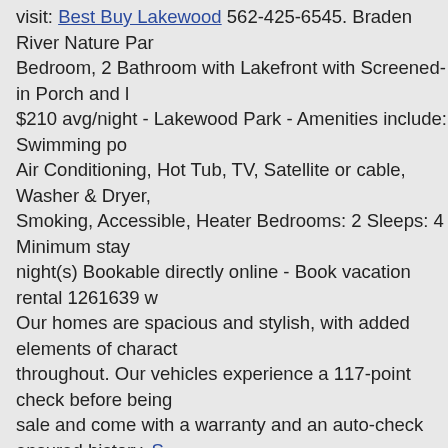visit: Best Buy Lakewood 562-425-6545. Braden River Nature Park... Bedroom, 2 Bathroom with Lakefront with Screened-in Porch and ... $210 avg/night - Lakewood Park - Amenities include: Swimming po... Air Conditioning, Hot Tub, TV, Satellite or cable, Washer & Dryer, Smoking, Accessible, Heater Bedrooms: 2 Sleeps: 4 Minimum stay night(s) Bookable directly online - Book vacation rental 1261639 w... Our homes are spacious and stylish, with added elements of charact... throughout. Our vehicles experience a 117-point check before being... sale and come with a warranty and an auto-check ensured history. S... Lakewood Park We are available 24 hours a day 7 days a week (216... . Get Directions. 495 Laketower Dr Lexington , KY 40502. DIRECT... ... They even have a stone chess/checker table. Can also search by k... such as type of business. With prices for houses for sale in Lakewood starting as low as $175,000, we make the search for the perfect hom... providing you with the right tools! Browse our aisles of sewing mac... supplies, paints, yarns, paper crafts and more. This popular park off... extraordinary views of Puget Sound and the Olympic Mountains. Le... & Recreation or call 512-528-9909. There's plenty of shade with all Westminster ICE is a world-class facility dedicated to the growth an... advancement of ice hockey and skating in the United States. Leande... 78641. Drivers choose our new Subaru and used car dealership beca...